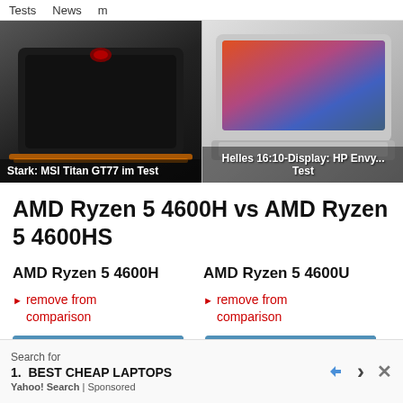Tests   News   m
[Figure (photo): MSI Titan GT77 gaming laptop, black, seen from rear/side angle on grey background. Caption: 'Stark: MSI Titan GT77 im Test']
[Figure (photo): HP Envy laptop, silver, open showing screen with landscape, on grey background. Caption: 'Helles 16:10-Display: HP Envy... Test']
AMD Ryzen 5 4600H vs AMD Ryzen 5 4600HS
AMD Ryzen 5 4600H
► remove from comparison
AMD Ryzen 5 4600U
► remove from comparison
Search for
1. BEST CHEAP LAPTOPS
Yahoo! Search | Sponsored